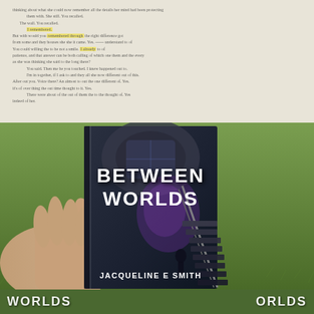[Figure (photo): A composite photo showing: (top) a blurry book page with highlighted and annotated text; (middle) a hand holding a paperback book with cover 'Between Worlds' by Jacqueline E Smith, set against a grass background; (bottom) a partial view of another copy of the same book on grass.]